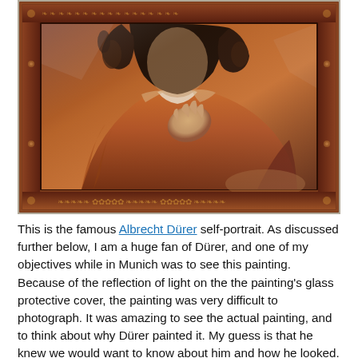[Figure (photo): Photograph of Albrecht Dürer's self-portrait painting displayed in a dark wooden ornate frame with decorative border patterns. The painting shows a figure with curly hair wearing a rust/orange-brown fur-trimmed coat, with one hand raised. The painting is behind glass which causes light reflections making it difficult to photograph clearly.]
This is the famous Albrecht Dürer self-portrait. As discussed further below, I am a huge fan of Dürer, and one of my objectives while in Munich was to see this painting. Because of the reflection of light on the the painting's glass protective cover, the painting was very difficult to photograph. It was amazing to see the actual painting, and to think about why Dürer painted it. My guess is that he knew we would want to know about him and how he looked.